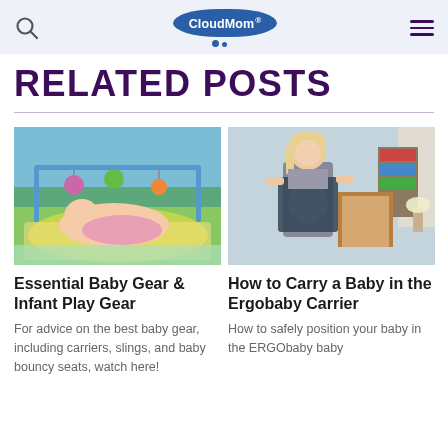CloudMom
RELATED POSTS
[Figure (photo): Baby lying on colorful play mat with hanging toys above]
[Figure (photo): Woman with blonde hair adjusting/wearing an Ergobaby baby carrier in a room with a crib]
Essential Baby Gear & Infant Play Gear
For advice on the best baby gear, including carriers, slings, and baby bouncy seats, watch here!
How to Carry a Baby in the Ergobaby Carrier
How to safely position your baby in the ERGObaby baby